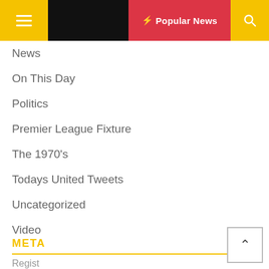Popular News
News
On This Day
Politics
Premier League Fixture
The 1970's
Todays United Tweets
Uncategorized
Video
META